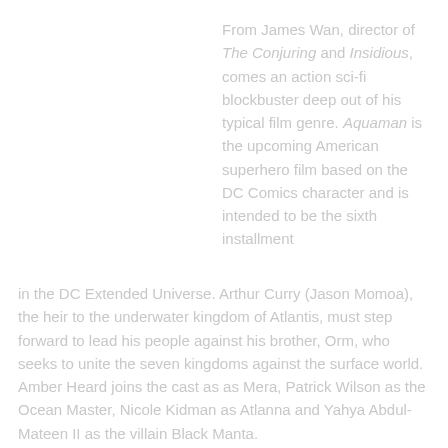From James Wan, director of The Conjuring and Insidious, comes an action sci-fi blockbuster deep out of his typical film genre. Aquaman is the upcoming American superhero film based on the DC Comics character and is intended to be the sixth installment in the DC Extended Universe. Arthur Curry (Jason Momoa), the heir to the underwater kingdom of Atlantis, must step forward to lead his people against his brother, Orm, who seeks to unite the seven kingdoms against the surface world. Amber Heard joins the cast as as Mera, Patrick Wilson as the Ocean Master, Nicole Kidman as Atlanna and Yahya Abdul-Mateen II as the villain Black Manta.